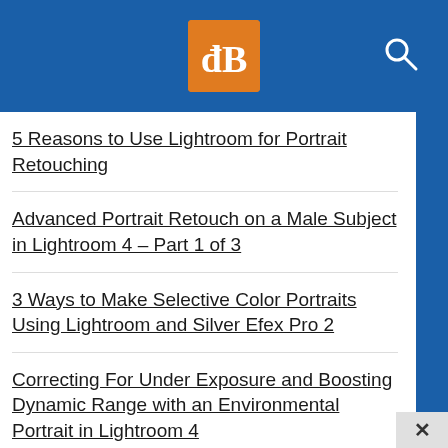[Figure (logo): dPS website header with orange logo box containing 'dP' letters and blue background, search icon on right]
5 Reasons to Use Lightroom for Portrait Retouching
Advanced Portrait Retouch on a Male Subject in Lightroom 4 – Part 1 of 3
3 Ways to Make Selective Color Portraits Using Lightroom and Silver Efex Pro 2
Correcting For Under Exposure and Boosting Dynamic Range with an Environmental Portrait in Lightroom 4
How to do Portrait Retouching With Luminar
Tips for Portrait Processing with ON1 Photo